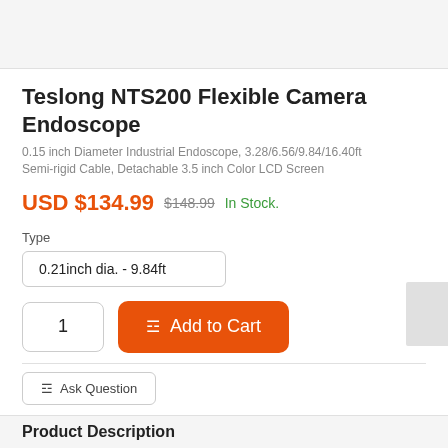Teslong NTS200 Flexible Camera Endoscope
0.15 inch Diameter Industrial Endoscope, 3.28/6.56/9.84/16.40ft Semi-rigid Cable, Detachable 3.5 inch Color LCD Screen
USD $134.99  $148.99  In Stock.
Type
0.21inch dia. - 9.84ft
1
Add to Cart
Ask Question
Product Description